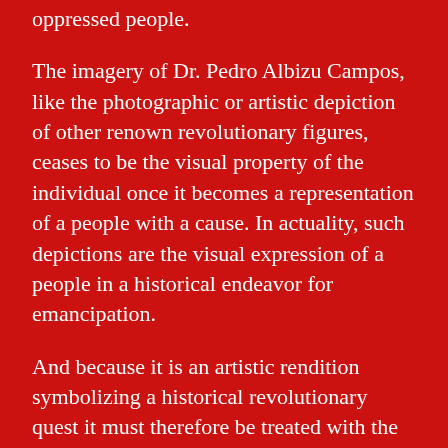oppressed people.
The imagery of Dr. Pedro Albizu Campos, like the photographic or artistic depiction of other renown revolutionary figures, ceases to be the visual property of the individual once it becomes a representation of a people with a cause. In actuality, such depictions are the visual expression of a people in a historical endeavor for emancipation.
And because it is an artistic rendition symbolizing a historical revolutionary quest it must therefore be treated with the utmost respect, as if it were a people's national flag.